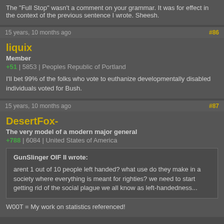The "Full Stop" wasn't a comment on your grammar. It was for effect in the context of the previous sentence I wrote. Sheesh.
15 years, 10 months ago  #86
liquix
Member
+51 | 5853 | Peoples Republic of Portland
I'll bet 99% of the folks who vote to euthanize developmentally disabled individuals voted for Bush.
15 years, 10 months ago  #87
DesertFox-
The very model of a modern major general
+788 | 6084 | United States of America
GunSlinger OIF II wrote:
arent 1 out of 10 people left handed?  what use do they make in a society where everything is meant for righties?  we need to start getting rid of the social plague we all know as left-handedness...
W00T = My work on statistics referenced!